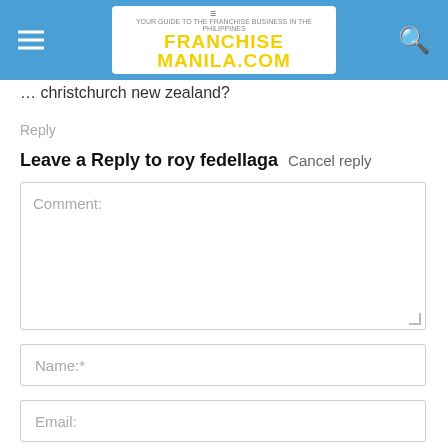FranchiseManila.com
... christchurch new zealand?
Reply
Leave a Reply to roy fedellaga   Cancel reply
Comment:
Name:*
Email: